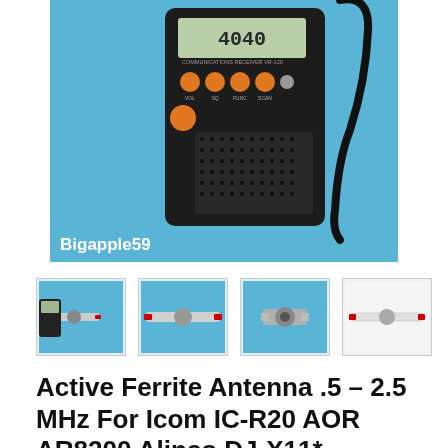[Figure (photo): Main product photo showing a black handheld communications receiver radio (Yaesu VR-120 type) on a light blue background with a black wrist strap, watermarked 'Bigapple59']
[Figure (photo): Thumbnail 1: Active ferrite antenna with black radio receiver on blue background]
[Figure (photo): Thumbnail 2: Active ferrite antenna bar close-up on blue/white background]
[Figure (photo): Thumbnail 3: Close-up of antenna connector/center piece on blue background]
[Figure (photo): Thumbnail 4: Active ferrite antenna bar on white background]
Active Ferrite Antenna .5 - 2.5 MHz For Icom IC-R20 AOR AR8200 Alinco DJ-X11*